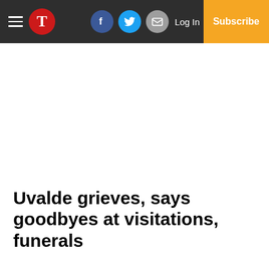T [logo] | Facebook | Twitter | Email | Log In | Subscribe
Uvalde grieves, says goodbyes at visitations, funerals